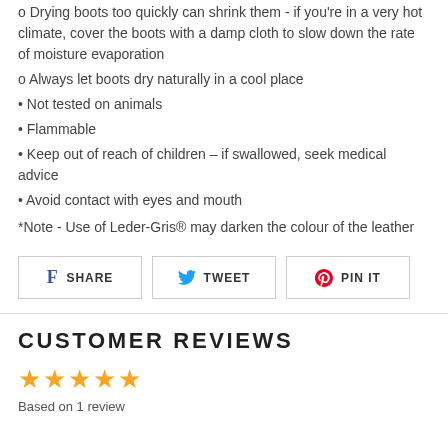o Drying boots too quickly can shrink them - if you're in a very hot climate, cover the boots with a damp cloth to slow down the rate of moisture evaporation
o Always let boots dry naturally in a cool place
• Not tested on animals
• Flammable
• Keep out of reach of children – if swallowed, seek medical advice
• Avoid contact with eyes and mouth
*Note - Use of Leder-Gris® may darken the colour of the leather
[Figure (infographic): Social share buttons: Facebook SHARE, Twitter TWEET, Pinterest PIN IT]
CUSTOMER REVIEWS
[Figure (infographic): 5 orange star rating icons]
Based on 1 review